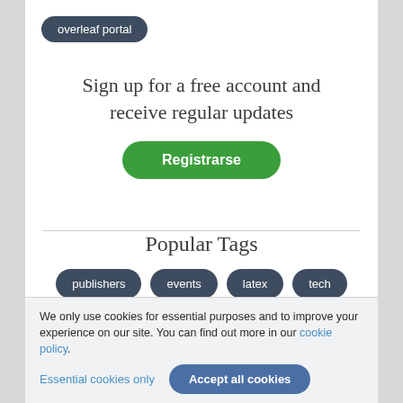overleaf portal
Sign up for a free account and receive regular updates
Registrarse
Popular Tags
publishers
events
latex
tech
press
features
guides
We only use cookies for essential purposes and to improve your experience on our site. You can find out more in our cookie policy.
Essential cookies only  Accept all cookies